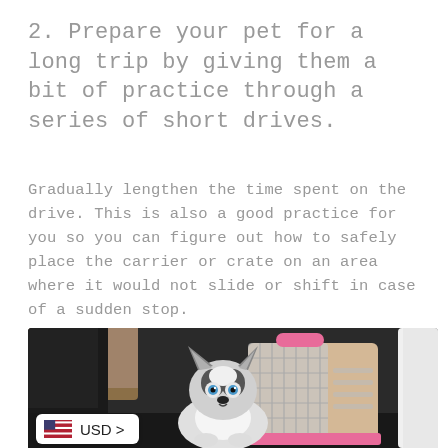2. Prepare your pet for a long trip by giving them a bit of practice through a series of short drives.
Gradually lengthen the time spent on the drive. This is also a good practice for you so you can figure out how to safely place the carrier or crate on an area where it would not slide or shift in case of a sudden stop.
[Figure (photo): A husky puppy sitting next to a pink pet carrier/crate inside a car trunk or back seat area. A USD currency selector badge is overlaid at the bottom left of the image.]